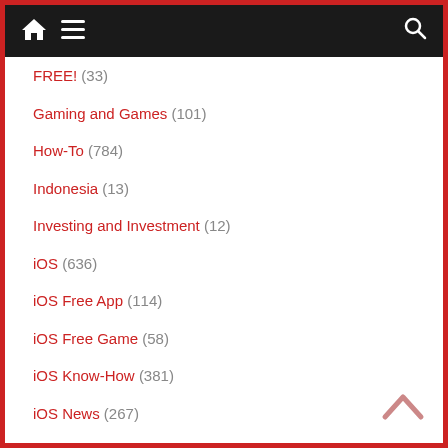Navigation bar with home icon, menu icon, and search icon
FREE! (33)
Gaming and Games (101)
How-To (784)
Indonesia (13)
Investing and Investment (12)
iOS (636)
iOS Free App (114)
iOS Free Game (58)
iOS Know-How (381)
iOS News (267)
Jailbreak Jailbroken (2)
Life (295)
Poll (13)